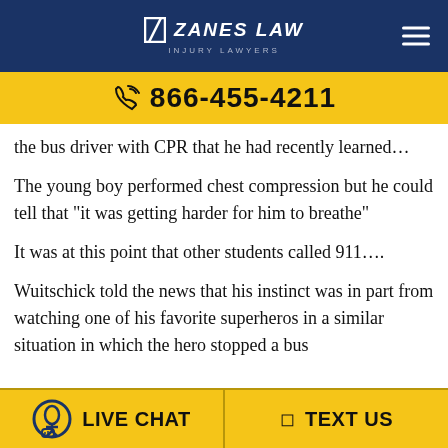Zanes Law Injury Lawyers | 866-455-4211
the bus driver with CPR that he had recently learned…
The young boy performed chest compression but he could tell that “it was getting harder for him to breathe”
It was at this point that other students called 911….
Wuitschick told the news that his instinct was in part from watching one of his favorite superheros in a similar situation in which the hero stopped a bus
LIVE CHAT | TEXT US